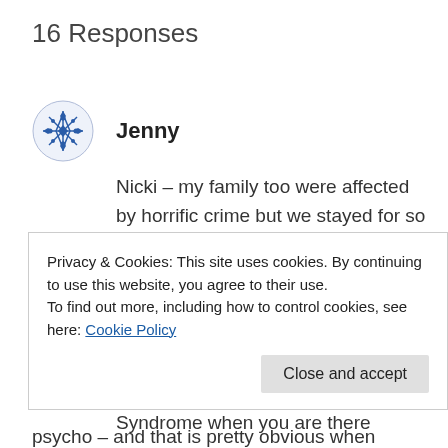16 Responses
Jenny
Nicki – my family too were affected by horrific crime but we stayed for so long and many of my family have no choice but to stay. I am so sorry for your and your mom's experiences and for everyone affected by crime. Crime is a crazy thing – as I said on Twitter it's like you have Stockholm Syndrome when you are there
Privacy & Cookies: This site uses cookies. By continuing to use this website, you agree to their use.
To find out more, including how to control cookies, see here: Cookie Policy
psycho – and that is pretty obvious when